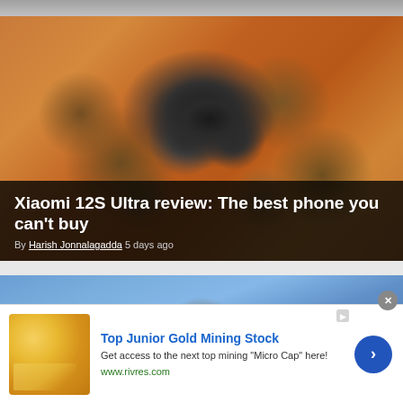[Figure (photo): Top strip of a partially visible image, dark gray/neutral color.]
[Figure (photo): Xiaomi 12S Ultra phone placed on skin with red irritation and small metallic acupuncture needles around it, photographed from above.]
Xiaomi 12S Ultra review: The best phone you can't buy
By Harish Jonnalagadda 5 days ago
[Figure (photo): Blue security camera or smart device with circular lens, photographed against blue background.]
[Figure (photo): Advertisement: Gold/yellow colored crackers or biscuits with melting butter, image for mining stock ad.]
Top Junior Gold Mining Stock
Get access to the next top mining "Micro Cap" here!
www.rivres.com